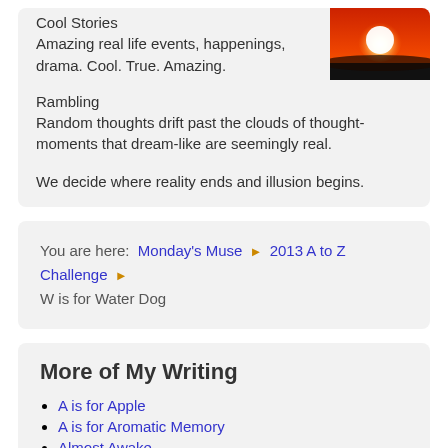Cool Stories
Amazing real life events, happenings, drama. Cool. True. Amazing.
[Figure (photo): Sunset photo with orange and red sky, white sun visible above dark horizon]
Rambling
Random thoughts drift past the clouds of thought-moments that dream-like are seemingly real.
We decide where reality ends and illusion begins.
You are here: Monday's Muse ▶ 2013 A to Z Challenge ▶
W is for Water Dog
More of My Writing
A is for Apple
A is for Aromatic Memory
Almost Awake
B is for Bacon